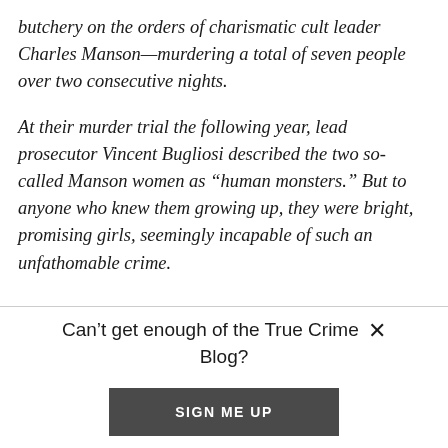butchery on the orders of charismatic cult leader Charles Manson—murdering a total of seven people over two consecutive nights.
At their murder trial the following year, lead prosecutor Vincent Bugliosi described the two so-called Manson women as “human monsters.” But to anyone who knew them growing up, they were bright, promising girls, seemingly incapable of such an unfathomable crime.
Can’t get enough of the True Crime Blog?
SIGN ME UP